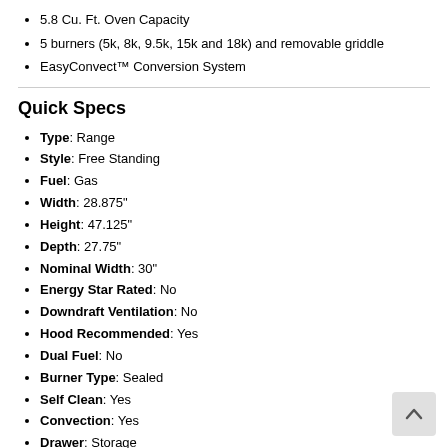5.8 Cu. Ft. Oven Capacity
5 burners (5k, 8k, 9.5k, 15k and 18k) and removable griddle
EasyConvect™ Conversion System
Quick Specs
Type: Range
Style: Free Standing
Fuel: Gas
Width: 28.875"
Height: 47.125"
Depth: 27.75"
Nominal Width: 30"
Energy Star Rated: No
Downdraft Ventilation: No
Hood Recommended: Yes
Dual Fuel: No
Burner Type: Sealed
Self Clean: Yes
Convection: Yes
Drawer: Storage
First Oven: 5.8 cu. ft.
Hidden Bake Element: Yes
Continuous Grate: Yes